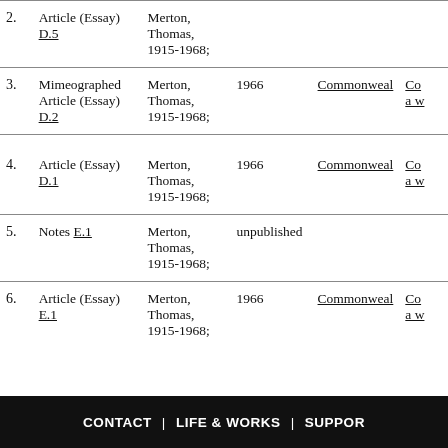| # | Type | Author | Year | Publication | Title |
| --- | --- | --- | --- | --- | --- |
| 2. | Article (Essay) D.5 | Merton, Thomas, 1915-1968; |  |  |  |
| 3. | Mimeographed Article (Essay) D.2 | Merton, Thomas, 1915-1968; | 1966 | Commonweal | Co a w |
| 4. | Article (Essay) D.1 | Merton, Thomas, 1915-1968; | 1966 | Commonweal | Co a w |
| 5. | Notes E.1 | Merton, Thomas, 1915-1968; | unpublished |  |  |
| 6. | Article (Essay) E.1 | Merton, Thomas, 1915-1968; | 1966 | Commonweal | Co a w |
CONTACT | LIFE & WORKS | SUPPORT